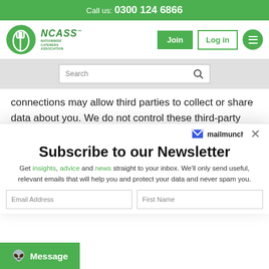Call us: 0300 124 6866
[Figure (logo): NCASS Nationwide Caterers Association logo with green circle and fork/knife icon]
Join | Log in | Menu
Search
connections may allow third parties to collect or share data about you. We do not control these third-party and are not responsible for their privacy
[Figure (screenshot): Mailmunch popup overlay with newsletter subscription form]
Subscribe to our Newsletter
Get insights, advice and news straight to your inbox. We'll only send useful, relevant emails that will help you and protect your data and never spam you.
Email Address
First Name
Message